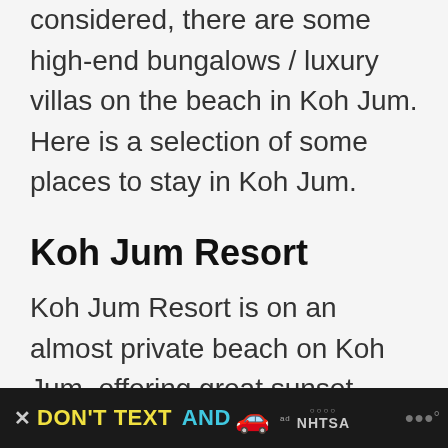considered, there are some high-end bungalows / luxury villas on the beach in Koh Jum. Here is a selection of some places to stay in Koh Jum.
Koh Jum Resort
Koh Jum Resort is on an almost private beach on Koh Jum, offering great sunset views over the Phi Phi islands. It also has a restaurant, cocktail bar and
[Figure (screenshot): Advertisement banner at bottom: black background with yellow 'DON'T TEXT' and cyan 'AND' text, red car emoji, ad choices logo, NHTSA branding, and close button]